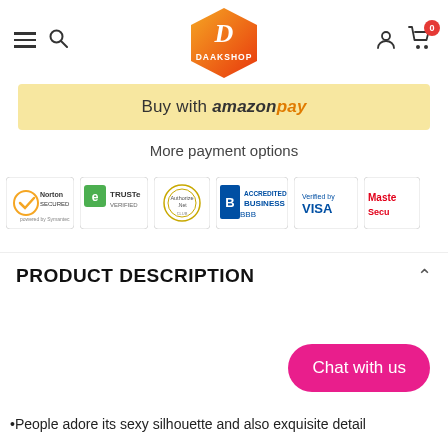[Figure (logo): Daakshop hexagon logo with orange-to-yellow gradient and cursive D]
[Figure (screenshot): Buy with Amazon Pay button (pale yellow background)]
More payment options
[Figure (infographic): Trust badge icons: Norton Secured, TRUSTe Verified, Authorize.Net, BBB Accredited Business, Verified by VISA, Mastercard SecureCode]
PRODUCT DESCRIPTION
Chat with us
•People adore its sexy silhouette and also exquisite detail